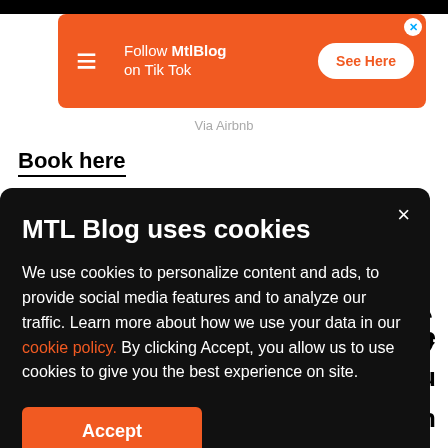[Figure (screenshot): MTLBlog TikTok advertisement banner with orange background, logo, 'Follow MtlBlog on Tik Tok' text, and 'See Here' button]
Via Airbnb
Book here
[Figure (screenshot): Cookie consent modal with dark background reading 'MTL Blog uses cookies' with accept button]
S
the
s you
mansion